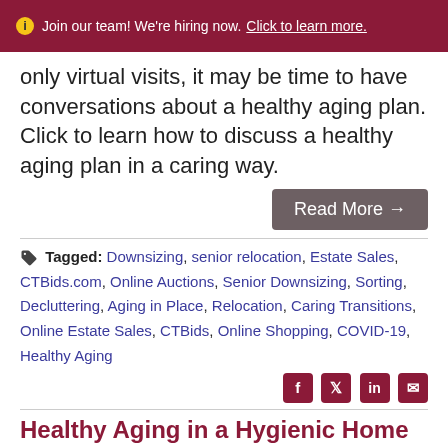Join our team! We're hiring now. Click to learn more.
only virtual visits, it may be time to have conversations about a healthy aging plan. Click to learn how to discuss a healthy aging plan in a caring way.
Read More →
Tagged: Downsizing, senior relocation, Estate Sales, CTBids.com, Online Auctions, Senior Downsizing, Sorting, Decluttering, Aging in Place, Relocation, Caring Transitions, Online Estate Sales, CTBids, Online Shopping, COVID-19, Healthy Aging
Healthy Aging in a Hygienic Home
Posted by Toni Bell on September 13, 2021 at 10:00 AM
If you or a loved one has decided to age in place or